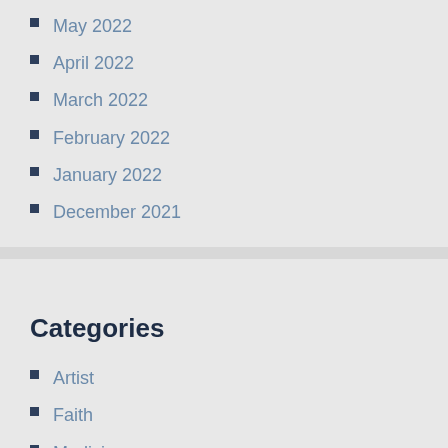May 2022
April 2022
March 2022
February 2022
January 2022
December 2021
Categories
Artist
Faith
Medicine
Movie